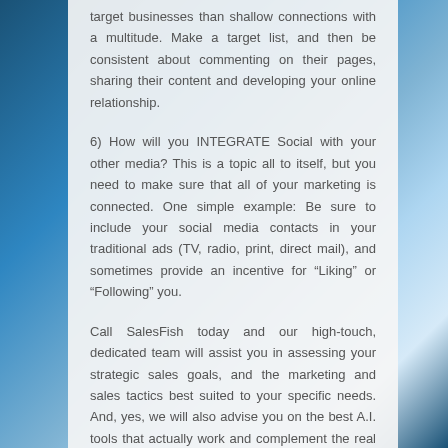target businesses than shallow connections with a multitude. Make a target list, and then be consistent about commenting on their pages, sharing their content and developing your online relationship.
6) How will you INTEGRATE Social with your other media? This is a topic all to itself, but you need to make sure that all of your marketing is connected. One simple example: Be sure to include your social media contacts in your traditional ads (TV, radio, print, direct mail), and sometimes provide an incentive for “Liking” or “Following” you.
Call SalesFish today and our high-touch, dedicated team will assist you in assessing your strategic sales goals, and the marketing and sales tactics best suited to your specific needs. And, yes, we will also advise you on the best A.I. tools that actually work and complement the real people in your business!
Stay tuned for more relevant content on creating world-